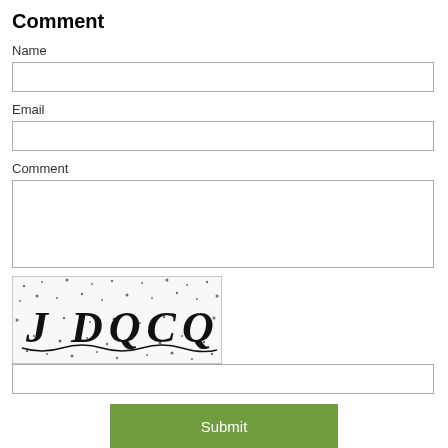Comment
Name
Email
Comment
[Figure (other): CAPTCHA image showing text 'J DQCQ' with noise/dots background]
Submit
Have views or comments on this article? Let us know via this form. If you would…